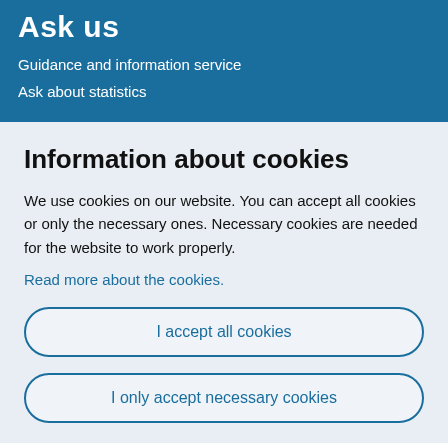Ask us
Guidance and information service
Ask about statistics
Information about cookies
We use cookies on our website. You can accept all cookies or only the necessary ones. Necessary cookies are needed for the website to work properly.
Read more about the cookies.
I accept all cookies
I only accept necessary cookies